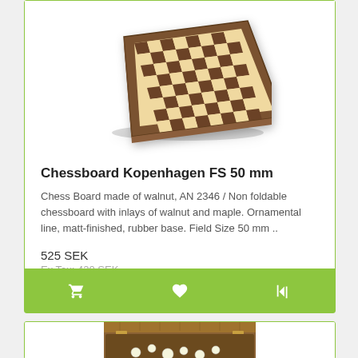[Figure (photo): Wooden chessboard Kopenhagen FS 50mm shown from above at an angle, walnut and maple inlays, ornamental border]
Chessboard Kopenhagen FS 50 mm
Chess Board made of walnut, AN 2346 / Non foldable chessboard with inlays of walnut and maple. Ornamental line, matt-finished, rubber base. Field Size 50 mm ..
525 SEK
Ex Tax: 420 SEK
[Figure (photo): Open wooden chess box with pieces inside, viewed from above showing walnut wood grain and brass hinges]